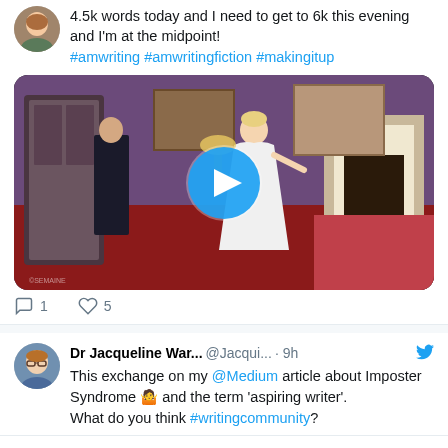4.5k words today and I need to get to 6k this evening and I'm at the midpoint! #amwriting #amwritingfiction #makingitup
[Figure (photo): Video thumbnail showing a vintage scene with a woman in a white dress in an ornate room with red carpet, a man in a dark suit in the background, purple walls and fireplace. Blue play button overlay in center.]
1 comment, 5 likes
Dr Jacqueline War... @Jacqui... · 9h
This exchange on my @Medium article about Imposter Syndrome 🤷 and the term 'aspiring writer'. What do you think #writingcommunity?